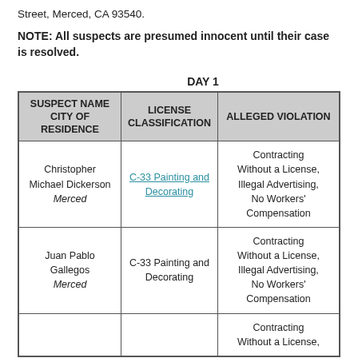Street, Merced, CA 93540.
NOTE: All suspects are presumed innocent until their case is resolved.
DAY 1
| SUSPECT NAME
CITY OF RESIDENCE | LICENSE
CLASSIFICATION | ALLEGED VIOLATION |
| --- | --- | --- |
| Christopher Michael Dickerson
Merced | C-33 Painting and Decorating | Contracting Without a License, Illegal Advertising, No Workers' Compensation |
| Juan Pablo Gallegos
Merced | C-33 Painting and Decorating | Contracting Without a License, Illegal Advertising, No Workers' Compensation |
|  |  | Contracting Without a License, |